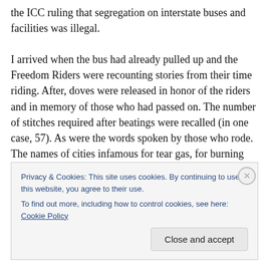the ICC ruling that segregation on interstate buses and facilities was illegal.

I arrived when the bus had already pulled up and the Freedom Riders were recounting stories from their time riding. After, doves were released in honor of the riders and in memory of those who had passed on. The number of stitches required after beatings were recalled (in one case, 57). As were the words spoken by those who rode. The names of cities infamous for tear gas, for burning buses, for beatings delivered with iron pipes, baseball
Privacy & Cookies: This site uses cookies. By continuing to use this website, you agree to their use.
To find out more, including how to control cookies, see here: Cookie Policy

Close and accept